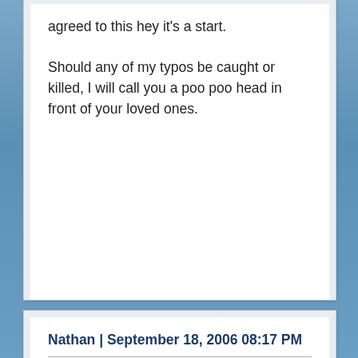agreed to this hey it's a start.

Should any of my typos be caught or killed, I will call you a poo poo head in front of your loved ones.
Nathan | September 18, 2006 08:17 PM
Hilary,

I realize now that I probably gave the impression that I'm one of the team (athiest/agnostic).

I was raised in an observant Jewish home and although I retain most of what I was